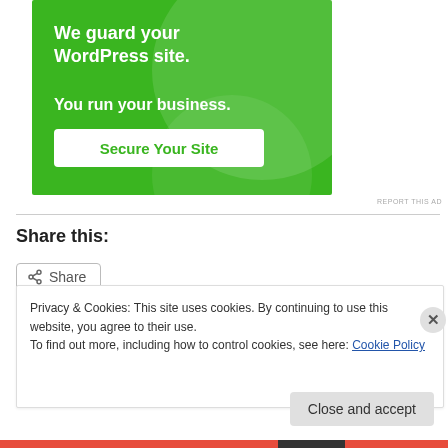[Figure (illustration): Green advertisement banner: 'We guard your WordPress site. You run your business.' with a 'Secure Your Site' button]
REPORT THIS AD
Share this:
Share
Privacy & Cookies: This site uses cookies. By continuing to use this website, you agree to their use.
To find out more, including how to control cookies, see here: Cookie Policy
Close and accept